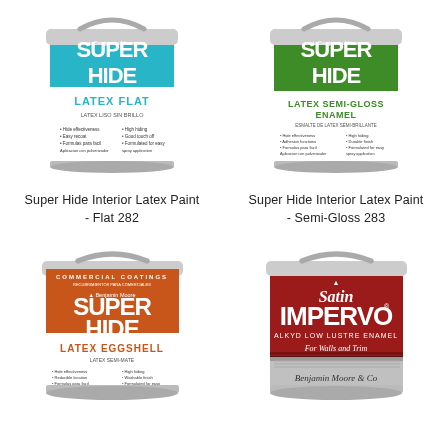[Figure (photo): Benjamin Moore Super Hide Latex Flat paint can - teal/blue color with white label]
[Figure (photo): Benjamin Moore Super Hide Latex Semi-Gloss Enamel paint can - green color with white label]
Super Hide Interior Latex Paint - Flat 282
Super Hide Interior Latex Paint - Semi-Gloss 283
[Figure (photo): Benjamin Moore Super Hide Latex Eggshell paint can - orange color with white label]
[Figure (photo): Benjamin Moore Satin Impervo Alkyd Low Lustre Enamel paint can - red/dark red with silver bottom]